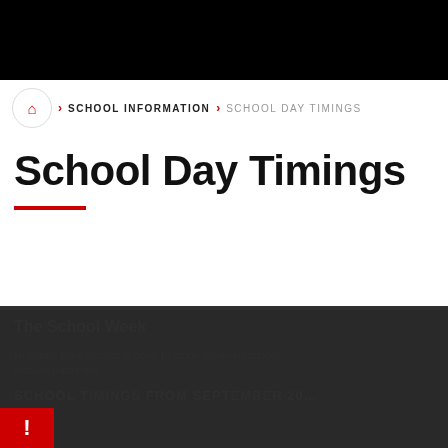Home > SCHOOL INFORMATION > SCHOOL DAY TIMINGS
School Day Timings
The School Week
Highams Park School is open to students when school is in session. Please check when closure dates are
SCHOOL TIMINGS FROM SEPTEMBER 20...
Cookie Policy
This site uses cookies to store information on your computer. Click here for more information
Allow Cookies   Deny Cookies